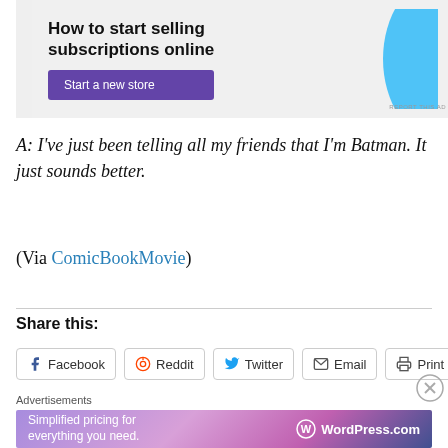[Figure (screenshot): Advertisement banner: 'How to start selling subscriptions online' with purple 'Start a new store' button and blue graphic shape on right]
A: I've just been telling all my friends that I'm Batman. It just sounds better.
(Via ComicBookMovie)
Share this:
[Figure (screenshot): Share buttons row: Facebook, Reddit, Twitter, Email, Print]
Advertisements
[Figure (screenshot): WordPress.com advertisement: 'Simplified pricing for everything you need.']